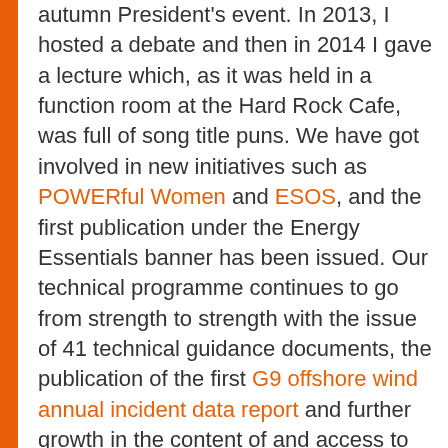autumn President's event. In 2013, I hosted a debate and then in 2014 I gave a lecture which, as it was held in a function room at the Hard Rock Cafe, was full of song title puns. We have got involved in new initiatives such as POWERful Women and ESOS, and the first publication under the Energy Essentials banner has been issued. Our technical programme continues to go from strength to strength with the issue of 41 technical guidance documents, the publication of the first G9 offshore wind annual incident data report and further growth in the content of and access to The Journal of the Energy Institute. We have continued to drive up standards and build competencies for the future with the accreditation of 68 energy-related courses in 21 institutions throughout the world.